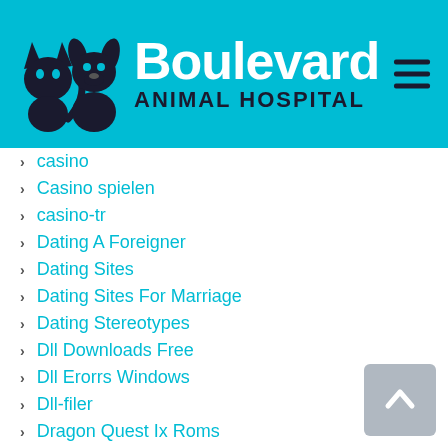[Figure (logo): Boulevard Animal Hospital logo with silhouettes of a cat and dog on teal background, with hamburger menu icon]
casino
Casino spielen
casino-tr
Dating A Foreigner
Dating Sites
Dating Sites For Marriage
Dating Stereotypes
Dll Downloads Free
Dll Erorrs Windows
Dll-filer
Dragon Quest Ix Roms
Drivere